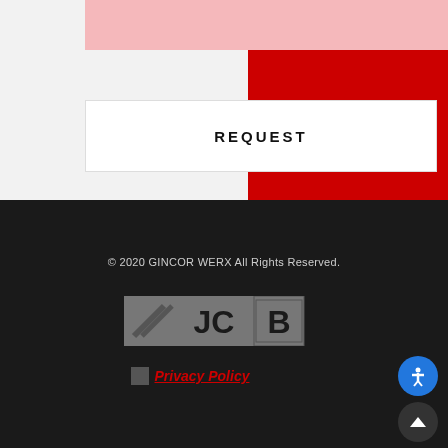[Figure (screenshot): Top section with light gray background, pink/red bar, red background on right side, and a white REQUEST button box]
REQUEST
© 2020 GINCOR WERX All Rights Reserved.
[Figure (logo): JCB logo in gray tones]
Privacy Policy